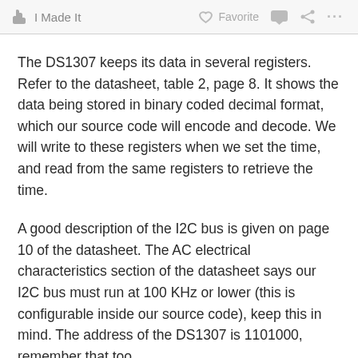I Made It   Favorite   ...
The DS1307 keeps its data in several registers. Refer to the datasheet, table 2, page 8. It shows the data being stored in binary coded decimal format, which our source code will encode and decode. We will write to these registers when we set the time, and read from the same registers to retrieve the time.
A good description of the I2C bus is given on page 10 of the datasheet. The AC electrical characteristics section of the datasheet says our I2C bus must run at 100 KHz or lower (this is configurable inside our source code), keep this in mind. The address of the DS1307 is 1101000, remember that too.
For example, we want to set the seconds, so the